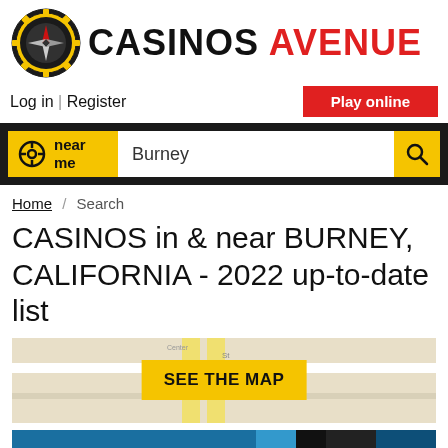CASINOS AVENUE
Log in | Register
Play online
near me  Burney
Home / Search
CASINOS in & near BURNEY, CALIFORNIA - 2022 up-to-date list
[Figure (map): Map view showing Burney area streets with a yellow 'SEE THE MAP' button overlay]
[Figure (photo): Bottom strip showing partial casino interior photo]